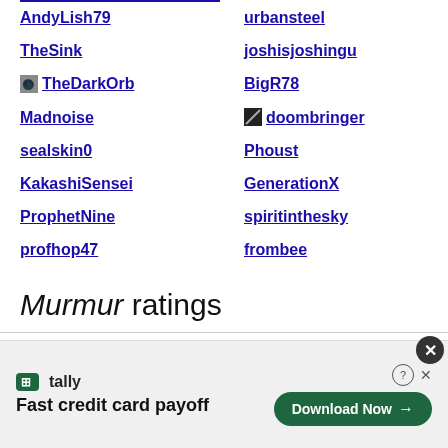AndyLish79
urbansteel
TheSink
joshisjoshingu
TheDarkOrb
BigR78
Madnoise
doombringer
sealskin0
Phoust
KakashiSensei
GenerationX
ProphetNine
spiritinthesky
profhop47
frombee
Murmur ratings
[Figure (screenshot): Tally advertisement banner: Fast credit card payoff with Download Now button]